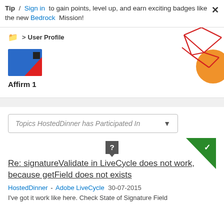Tip / Sign in to gain points, level up, and earn exciting badges like the new Bedrock Mission!
User Profile
[Figure (illustration): User avatar with blue background, red triangle, and dark square]
Affirm 1
[Figure (illustration): Decorative geometric graphic with red lines and orange circle in top-right corner]
Topics HostedDinner has Participated In
[Figure (illustration): Green checkmark triangle badge in top-right corner]
[Figure (illustration): Question mark icon with speech bubble pointer]
Re: signatureValidate in LiveCycle does not work, because getField does not exists
HostedDinner - Adobe LiveCycle 30-07-2015
I've got it work like here. Check State of Signature Field